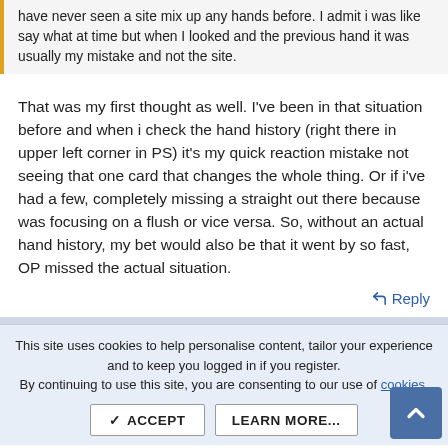have never seen a site mix up any hands before. I admit i was like say what at time but when I looked and the previous hand it was usually my mistake and not the site.
That was my first thought as well. I've been in that situation before and when i check the hand history (right there in upper left corner in PS) it's my quick reaction mistake not seeing that one card that changes the whole thing. Or if i've had a few, completely missing a straight out there because was focusing on a flush or vice versa. So, without an actual hand history, my bet would also be that it went by so fast, OP missed the actual situation.
↩ Reply
This site uses cookies to help personalise content, tailor your experience and to keep you logged in if you register.
By continuing to use this site, you are consenting to our use of cookies.
✓ ACCEPT   LEARN MORE...